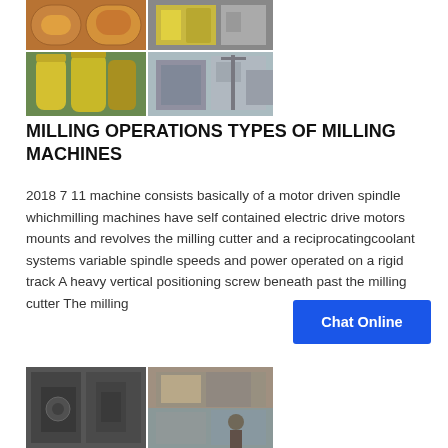[Figure (photo): Grid of industrial milling machine photos showing yellow cylindrical tanks, equipment, and industrial processing machinery]
MILLING OPERATIONS TYPES OF MILLING MACHINES
2018 7 11 machine consists basically of a motor driven spindle whichmilling machines have self contained electric drive motors mounts and revolves the milling cutter and a reciprocatingcoolant systems variable spindle speeds and power operated on a rigid track A heavy vertical positioning screw beneath past the milling cutter The milling
[Figure (other): Chat Online button]
[Figure (photo): Grid of industrial milling machine photos showing machinery components and workshop scenes]